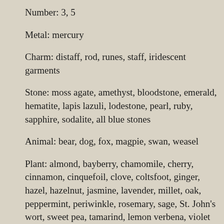Number: 3, 5
Metal: mercury
Charm: distaff, rod, runes, staff, iridescent garments
Stone: moss agate, amethyst, bloodstone, emerald, hematite, lapis lazuli, lodestone, pearl, ruby, sapphire, sodalite, all blue stones
Animal: bear, dog, fox, magpie, swan, weasel
Plant: almond, bayberry, chamomile, cherry, cinnamon, cinquefoil, clove, coltsfoot, ginger, hazel, hazelnut, jasmine, lavender, millet, oak, peppermint, periwinkle, rosemary, sage, St. John's wort, sweet pea, tamarind, lemon verbena, violet